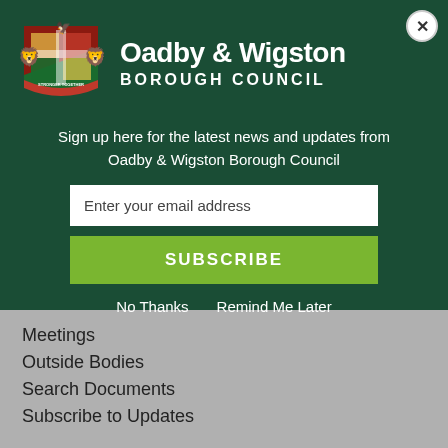[Figure (logo): Oadby & Wigston Borough Council coat of arms crest with motto 'Stronger Together']
Oadby & Wigston BOROUGH COUNCIL
Sign up here for the latest news and updates from Oadby & Wigston Borough Council
Enter your email address
SUBSCRIBE
No Thanks   Remind Me Later
Meetings
Outside Bodies
Search Documents
Subscribe to Updates